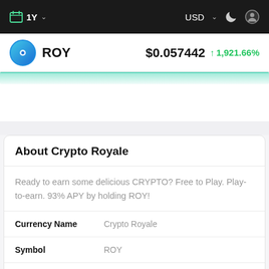1Y  USD
ROY  $0.057442  ↑1,921.66%
About Crypto Royale
Ready to earn some delicious CRYPTO? Free to Play. Play-to-earn. 93% APY by holding ROY!
| Field | Value |
| --- | --- |
| Currency Name | Crypto Royale |
| Symbol | ROY |
| Contract | 0xfe1b516a7297eb03229a8b5afad80703911 |